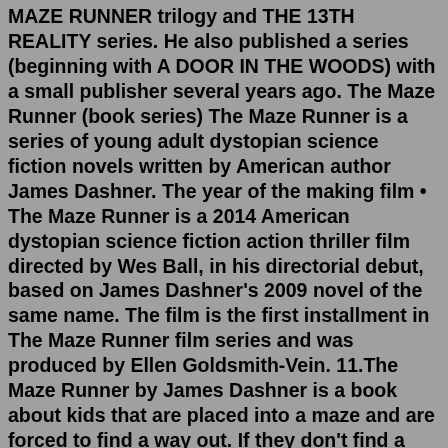MAZE RUNNER trilogy and THE 13TH REALITY series. He also published a series (beginning with A DOOR IN THE WOODS) with a small publisher several years ago. The Maze Runner (book series) The Maze Runner is a series of young adult dystopian science fiction novels written by American author James Dashner. The year of the making film • The Maze Runner is a 2014 American dystopian science fiction action thriller film directed by Wes Ball, in his directorial debut, based on James Dashner's 2009 novel of the same name. The film is the first installment in The Maze Runner film series and was produced by Ellen Goldsmith-Vein. 11.The Maze Runner by James Dashner is a book about kids that are placed into a maze and are forced to find a way out. If they don't find a way out, the whole world could be at stake. Each kid is placed into the maze one by one and every two months another kid is placed into the maze. All the kids have no memory of their life before the maze.The Maze Runner (book series) The Maze Runner is a series of young adult